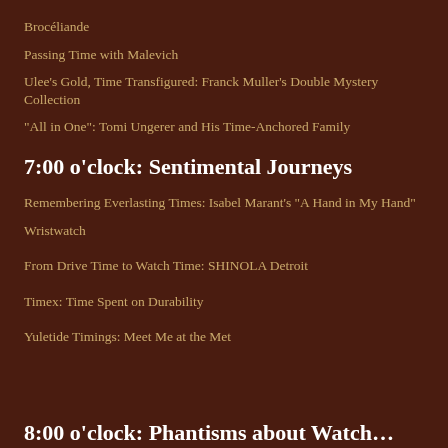Brocéliande
Passing Time with Malevich
Ulee's Gold, Time Transfigured: Franck Muller's Double Mystery Collection
“All in One”: Tomi Ungerer and His Time-Anchored Family
7:00 o'clock: Sentimental Journeys
Remembering Everlasting Times: Isabel Marant's "A Hand in My Hand"
Wristwatch
From Drive Time to Watch Time: SHINOLA Detroit
Timex: Time Spent on Durability
Yuletide Timings: Meet Me at the Met
8:00 o'clock: Phantisms about Watch…